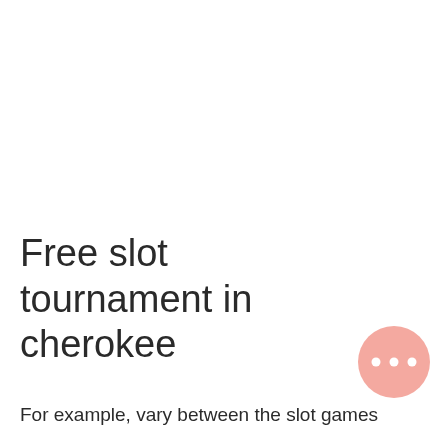Free slot tournament in cherokee
For example, vary between the slot games